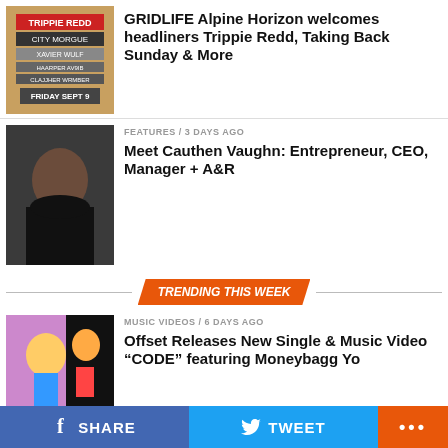[Figure (photo): GRIDLIFE Alpine Horizon concert flyer thumbnail]
GRIDLIFE Alpine Horizon welcomes headliners Trippie Redd, Taking Back Sunday & More
[Figure (photo): Cauthen Vaughn portrait photo]
FEATURES / 3 days ago
Meet Cauthen Vaughn: Entrepreneur, CEO, Manager + A&R
TRENDING THIS WEEK
[Figure (photo): Offset music video thumbnail]
MUSIC VIDEOS / 6 days ago
Offset Releases New Single & Music Video “CODE” featuring Moneybagg Yo
[Figure (photo): Studio recording session photo]
AUDIO / 6 days ago
The Evil Empire Is Back!
SHARE   TWEET   ...